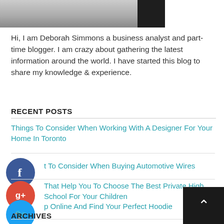[Figure (photo): Top portion of a photo, partially cropped, showing a grayscale outdoor scene with a dark figure]
Hi, I am Deborah Simmons a business analyst and part-time blogger. I am crazy about gathering the latest information around the world. I have started this blog to share my knowledge & experience.
RECENT POSTS
Things To Consider When Working With A Designer For Your Home In Toronto
t To Consider When Buying Automotive Wires
That Help You To Choose The Best Private High School For Your Children
p Online And Find Your Perfect Hoodie
Best Short-Term Airports with Parking In Sydney
ARCHIVES